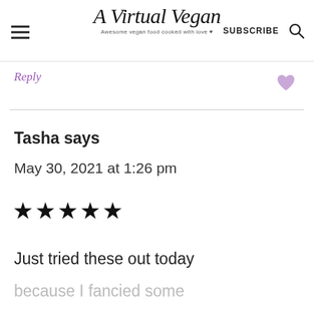A Virtual Vegan | SUBSCRIBE
Reply
Tasha says
May 30, 2021 at 1:26 pm
★★★★★
Just tried these out today
because I fancied some